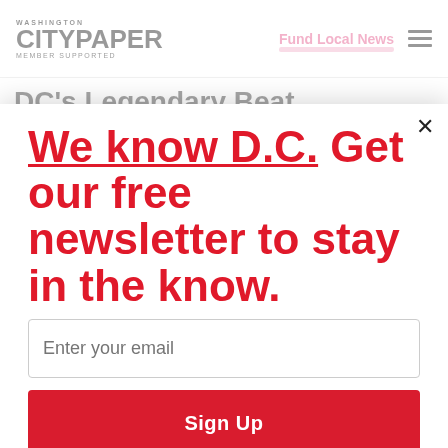WASHINGTON CITYPAPER MEMBER SUPPORTED
Fund Local News
DC's Legendary Beat
We know D.C. Get our free newsletter to stay in the know.
Enter your email
Sign Up
Unsubscribe any time.